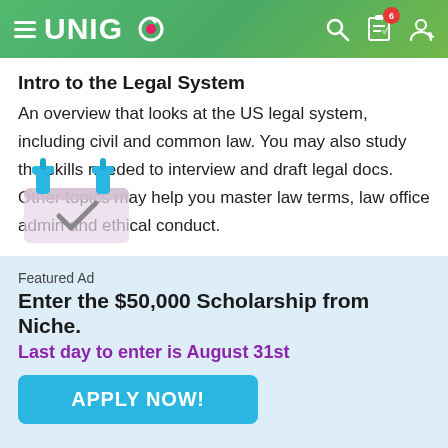UNIGO
Intro to the Legal System
An overview that looks at the US legal system, including civil and common law. You may also study the skills needed to interview and draft legal docs. Other topics may help you master law terms, law office admin and ethical conduct.
[Figure (illustration): A cartoon illustration of a mailbox/inbox tray with a checkmark, shown partially at the bottom of the main content area]
Featured Ad
Enter the $50,000 Scholarship from Niche.
Last day to enter is August 31st
APPLY NOW!